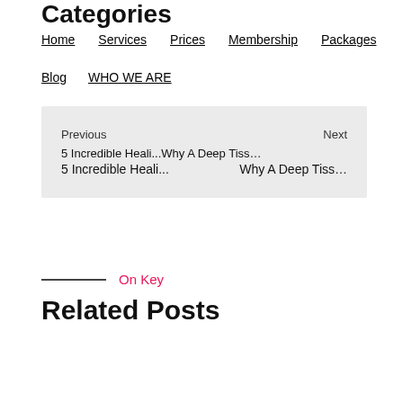Categories
Home
Services
Prices
Membership
Packages
Blog
WHO WE ARE
Previous
5 Incredible Heali...
Next
Why A Deep Tiss...
On Key
Related Posts